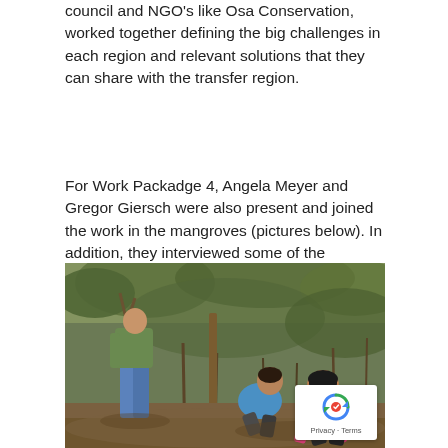council and NGO's like Osa Conservation, worked together defining the big challenges in each region and relevant solutions that they can share with the transfer region.
For Work Packadge 4, Angela Meyer and Gregor Giersch were also present and joined the work in the mangroves (pictures below). In addition, they interviewed some of the stakeholders, to collect more data and continue their analysis of the region. This included a personal interview with the Vice minister of Water and Seas, José Lino Chaves.
[Figure (photo): People working in the mangroves. A person in jeans and green shirt stands on the left, two people crouch on the right — one in a pink sleeveless top and one in blue — working near the mangrove roots on muddy ground.]